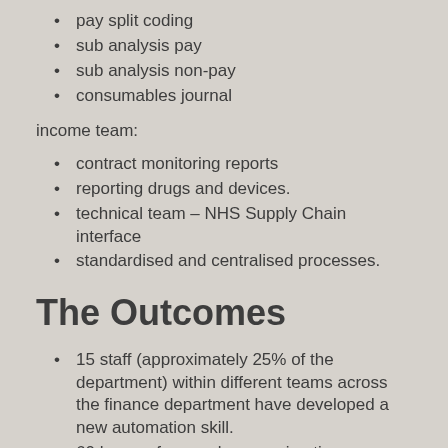pay split coding
sub analysis pay
sub analysis non-pay
consumables journal
income team:
contract monitoring reports
reporting drugs and devices.
technical team – NHS Supply Chain interface
standardised and centralised processes.
The Outcomes
15 staff (approximately 25% of the department) within different teams across the finance department have developed a new automation skill.
60 hours of manual processing time per month has been saved so far.